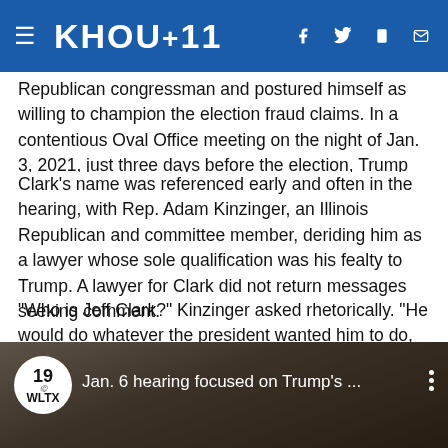KHOU 11
Republican congressman and postured himself as willing to champion the election fraud claims. In a contentious Oval Office meeting on the night of Jan. 3, 2021, just three days before the election, Trump toyed with replacing Rosen with Clark but backed down amid threats of mass resignations,
Clark's name was referenced early and often in the hearing, with Rep. Adam Kinzinger, an Illinois Republican and committee member, deriding him as a lawyer whose sole qualification was his fealty to Trump. A lawyer for Clark did not return messages seeking comment.
“Who is Jeff Clark?” Kinzinger asked rhetorically. “He would do whatever the president wanted him to do, including overthrowing a free and fair democratic election.”
[Figure (screenshot): Video thumbnail showing WLTX CBS 19 logo and text 'Jan. 6 hearing focused on Trump's ...' with a background image of a person]